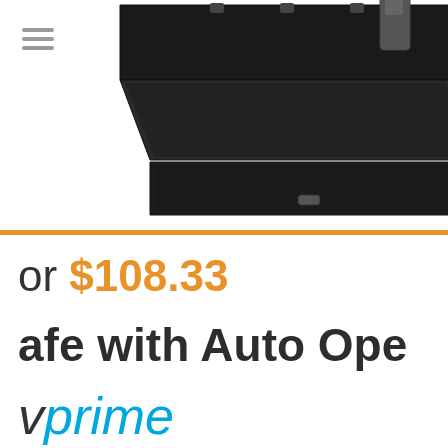[Figure (photo): Product photo of an open black car console safe with Auto Open feature, showing the lid open and interior, photographed against white background. Cropped so only the lower portion of the safe and lid are visible.]
or $108.33
Safe with Auto Ope
prime